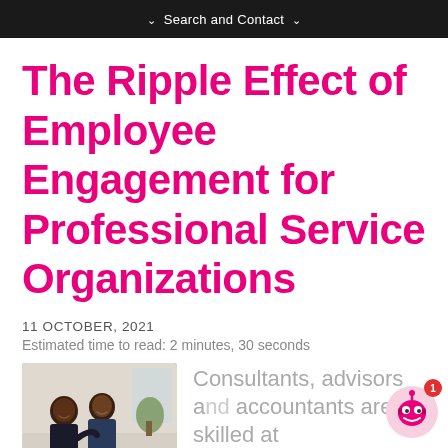Search and Contact
The Ripple Effect of Employee Engagement for Professional Service Organizations
11 OCTOBER, 2021
Estimated time to read: 2 minutes, 30 seconds
[Figure (photo): Two people having a discussion, smiling, in an office or workspace setting]
Consultants, advisors and accountants are skilled at